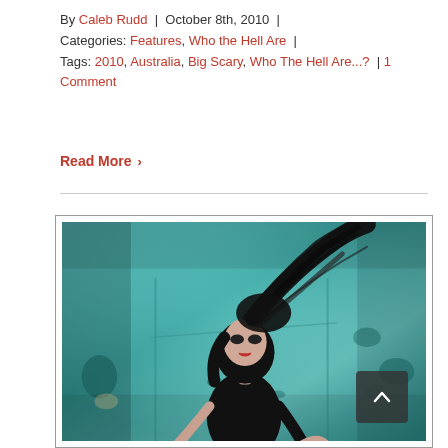By Caleb Rudd | October 8th, 2010 | Categories: Features, Who the Hell Are | Tags: 2010, Australia, Big Scary, Who The Hell Are...? | 1 Comment
Read More ›
[Figure (photo): A woman with long black hair flowing upward against a teal/turquoise distressed background. She is wearing a black outfit and posing with hands on hips. A dark scroll-to-top button with an upward chevron is visible in the lower right of the image.]